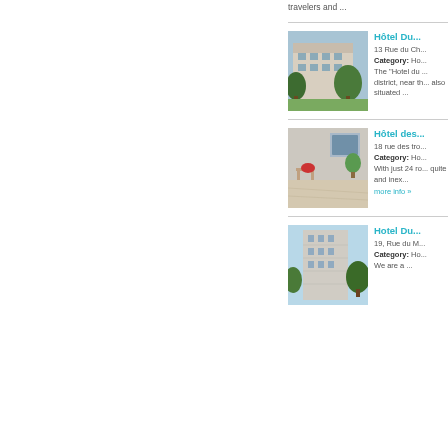travelers and ...
[Figure (photo): Exterior photo of Hôtel Du ... showing a multi-storey building with trees in foreground]
Hôtel Du ...
13 Rue du Ch...
Category: Ho...
The "Hotel du ... district, near th... also situated ...
[Figure (photo): Interior photo of Hôtel des ... showing a bright room with chairs and a plant]
Hôtel des ...
18 rue des tro...
Category: Ho...
With just 24 ro... quite and inex...
more info »
[Figure (photo): Exterior photo of Hotel Du ... showing a tall building with trees]
Hotel Du ...
19, Rue du M...
Category: Ho...
We are a ...